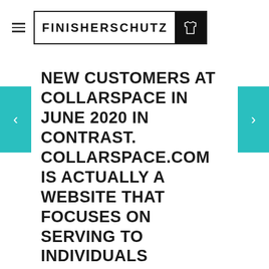FINISHERSCHUTZ
NEW CUSTOMERS AT COLLARSPACE IN JUNE 2020 IN CONTRAST. COLLARSPACE.COM IS ACTUALLY A WEBSITE THAT FOCUSES ON SERVING TO INDIVIDUALS DISCOVER THE FULL SITUATION RELATIONSHIPS.
Posted by 12283534